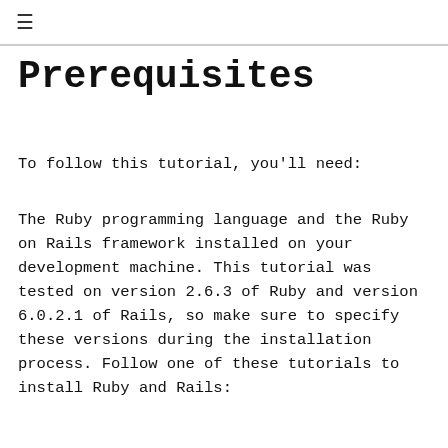≡
Prerequisites
To follow this tutorial, you'll need:
The Ruby programming language and the Ruby on Rails framework installed on your development machine. This tutorial was tested on version 2.6.3 of Ruby and version 6.0.2.1 of Rails, so make sure to specify these versions during the installation process. Follow one of these tutorials to install Ruby and Rails: